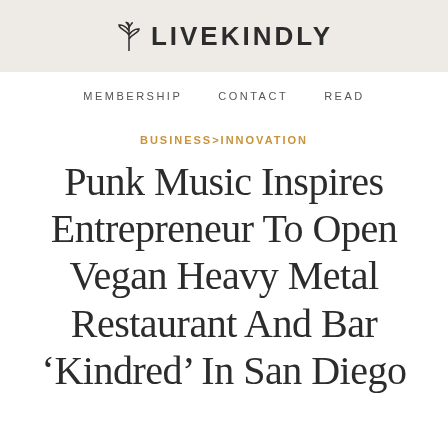LIVEKINDLY
MEMBERSHIP   CONTACT   READ
BUSINESS>INNOVATION
Punk Music Inspires Entrepreneur To Open Vegan Heavy Metal Restaurant And Bar 'Kindred' In San Diego